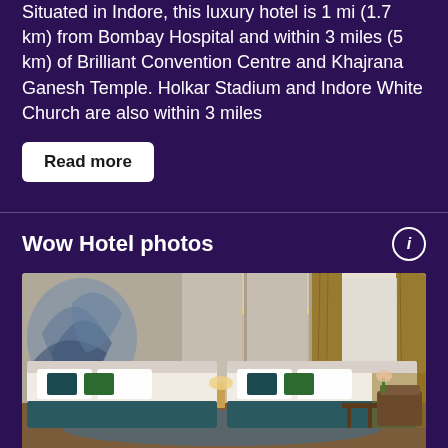Situated in Indore, this luxury hotel is 1 mi (1.7 km) from Bombay Hospital and within 3 miles (5 km) of Brilliant Convention Centre and Khajrana Ganesh Temple. Holkar Stadium and Indore White Church are also within 3 miles
Read more
Wow Hotel photos
[Figure (photo): Hotel room interior showing two large beds with white linens and teal/green/blue decorative pillows, a decorative peacock feather wall mural on the left, warm overhead lighting with LED strip, large windows with brown curtains on the right, and a sitting area with chair and small table in the background.]